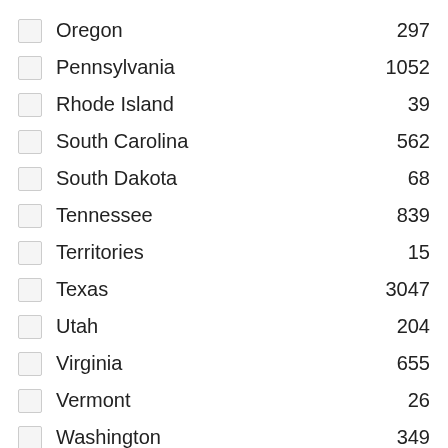Oregon 297
Pennsylvania 1052
Rhode Island 39
South Carolina 562
South Dakota 68
Tennessee 839
Territories 15
Texas 3047
Utah 204
Virginia 655
Vermont 26
Washington 349